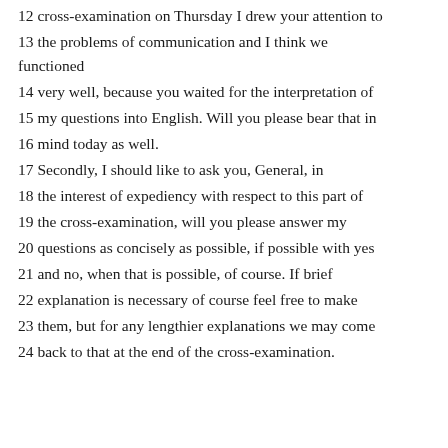12 cross-examination on Thursday I drew your attention to
13 the problems of communication and I think we functioned
14 very well, because you waited for the interpretation of
15 my questions into English. Will you please bear that in
16 mind today as well.
17 Secondly, I should like to ask you, General, in
18 the interest of expediency with respect to this part of
19 the cross-examination, will you please answer my
20 questions as concisely as possible, if possible with yes
21 and no, when that is possible, of course. If brief
22 explanation is necessary of course feel free to make
23 them, but for any lengthier explanations we may come
24 back to that at the end of the cross-examination.